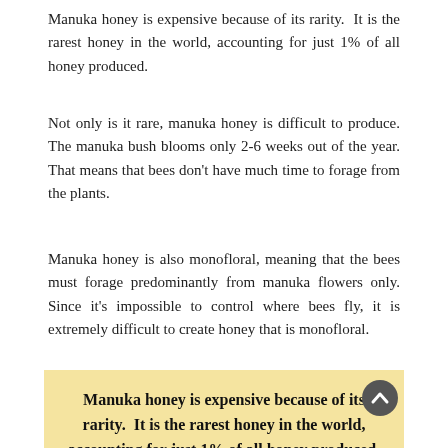Manuka honey is expensive because of its rarity. It is the rarest honey in the world, accounting for just 1% of all honey produced.
Not only is it rare, manuka honey is difficult to produce. The manuka bush blooms only 2-6 weeks out of the year. That means that bees don’t have much time to forage from the plants.
Manuka honey is also monofloral, meaning that the bees must forage predominantly from manuka flowers only. Since it’s impossible to control where bees fly, it is extremely difficult to create honey that is monofloral.
Manuka honey is expensive because of its rarity. It is the rarest honey in the world, accounting for just 1% of all honey produced.